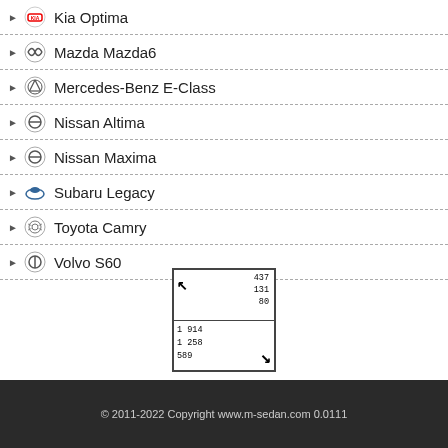Kia Optima
Mazda Mazda6
Mercedes-Benz E-Class
Nissan Altima
Nissan Maxima
Subaru Legacy
Toyota Camry
Volvo S60
[Figure (other): Stats box with top-left arrow, numbers 437 131 80 in top right, and 1 914 / 1 258 / 589 in bottom left with bottom-right arrow]
© 2011-2022 Copyright www.m-sedan.com 0.0111